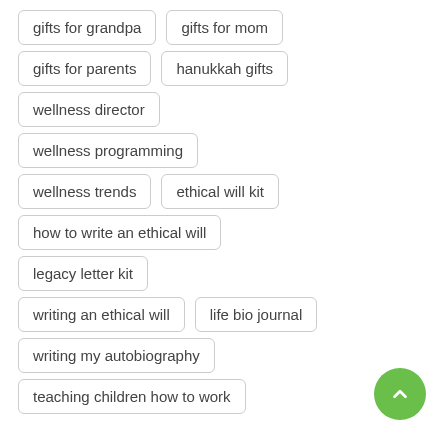gifts for grandpa
gifts for mom
gifts for parents
hanukkah gifts
wellness director
wellness programming
wellness trends
ethical will kit
how to write an ethical will
legacy letter kit
writing an ethical will
life bio journal
writing my autobiography
teaching children how to work